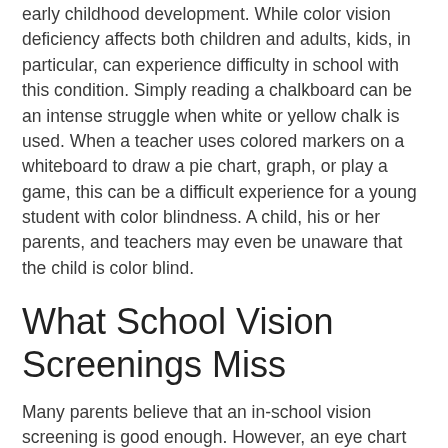early childhood development. While color vision deficiency affects both children and adults, kids, in particular, can experience difficulty in school with this condition. Simply reading a chalkboard can be an intense struggle when white or yellow chalk is used. When a teacher uses colored markers on a whiteboard to draw a pie chart, graph, or play a game, this can be a difficult experience for a young student with color blindness. A child, his or her parents, and teachers may even be unaware that the child is color blind.
What School Vision Screenings Miss
Many parents believe that an in-school vision screening is good enough. However, an eye chart test only checks for basic visual acuity, so kids with blurry or double vision, for example, may be able to pass a vision screening while still struggling to read, write, or focus on the board. Children who have problems with their binocular vision, which means using both eyes together to focus on something,